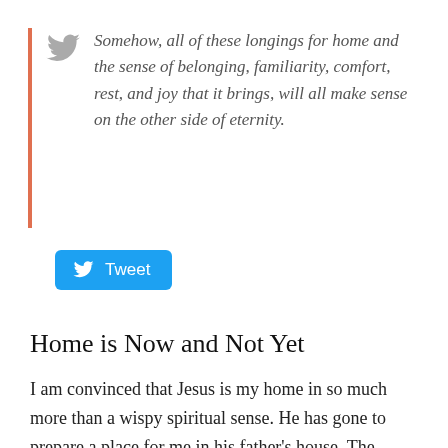Somehow, all of these longings for home and the sense of belonging, familiarity, comfort, rest, and joy that it brings, will all make sense on the other side of eternity.
[Figure (other): Tweet button with Twitter bird icon, blue rounded rectangle labeled 'Tweet']
Home is Now and Not Yet
I am convinced that Jesus is my home in so much more than a wispy spiritual sense. He has gone to prepare a place for me in his father's house. The kingdom of heaven and the comfort of the Holy Spirit are mine right now, but the longing–the insatiable ache–I have for home will one day be satisfied in a very real and tangible sense.